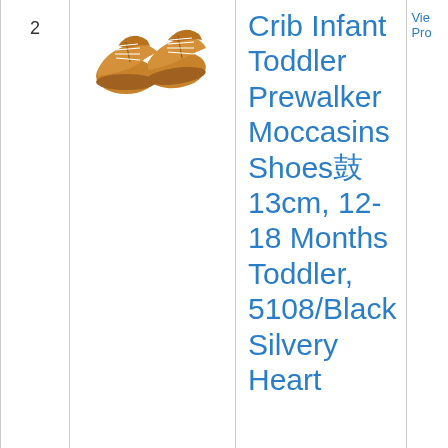| # | Image | Product Title | Action |
| --- | --- | --- | --- |
| 2 | [shoe image] | Crib Infant Toddler Prewalker Moccasins Shoes鼓13cm, 12-18 Months Toddler, 5108/Black Silvery Heart | View Pro... |
|  |  | HONGTEYA Baby Girls Boys Christmas Boo... |  |